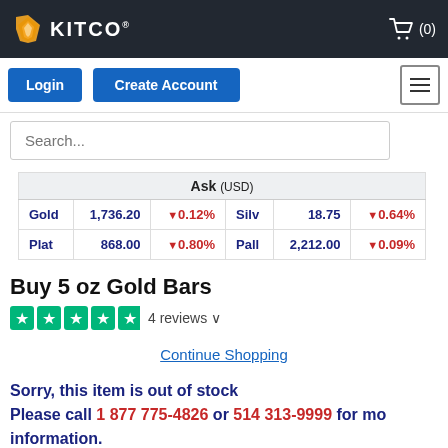KITCO (0)
Login  Create Account
Search...
| Ask (USD) |  |  |  |
| --- | --- | --- | --- |
| Gold | 1,736.20 | ▼0.12% | Silv | 18.75 | ▼0.64% |
| Plat | 868.00 | ▼0.80% | Pall | 2,212.00 | ▼0.09% |
Buy 5 oz Gold Bars
★★★★★  4 reviews ∨
Continue Shopping
Sorry, this item is out of stock
Please call 1 877 775-4826 or 514 313-9999 for more information.